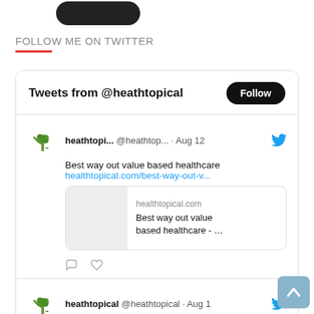FOLLOW ME ON TWITTER
Tweets from @heathtopical  Follow
heathtopi... @heathtop... · Aug 12
Best way out value based healthcare
healthtopical.com/best-way-out-v...
[link preview: healthtopical.com — Best way out value based healthcare - …]
heathtopical @heathtopical · Aug 1
What Can Be Done As Part of After Hospital Care at Home Brentwood TN?
healthtopical.com/what-can-be-do...
[Figure (other): Scroll to top button — light blue rounded square with upward chevron arrow]